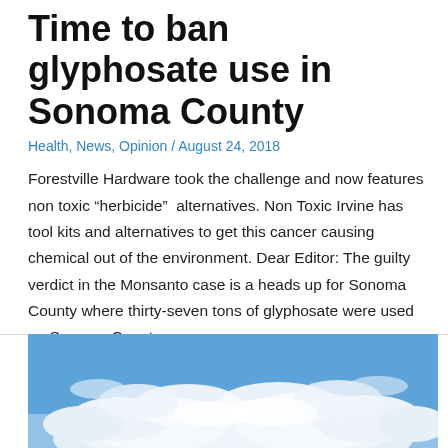Time to ban glyphosate use in Sonoma County
Health, News, Opinion / August 24, 2018
Forestville Hardware took the challenge and now features non toxic “herbicide”  alternatives. Non Toxic Irvine has tool kits and alternatives to get this cancer causing chemical out of the environment. Dear Editor: The guilty verdict in the Monsanto case is a heads up for Sonoma County where thirty-seven tons of glyphosate were used on Sonoma County …
Read More »
[Figure (photo): Blue sky with large white cumulus clouds]